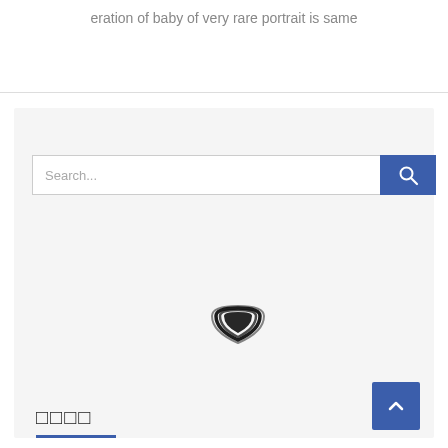eration of baby of very rare portrait is same
[Figure (logo): Stacked concentric arc logo mark (dark navy/black swoosh curves)]
□□□□
▶ □□□□□□□□
▶ □□□□□□□□